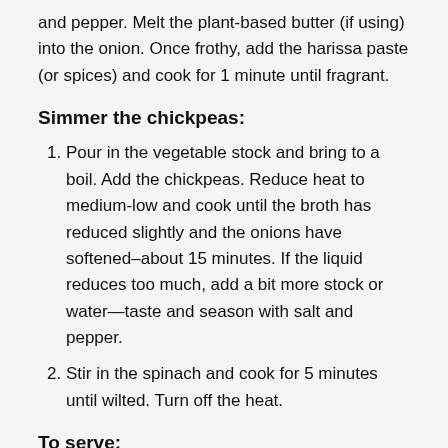and pepper. Melt the plant-based butter (if using) into the onion. Once frothy, add the harissa paste (or spices) and cook for 1 minute until fragrant.
Simmer the chickpeas:
Pour in the vegetable stock and bring to a boil. Add the chickpeas. Reduce heat to medium-low and cook until the broth has reduced slightly and the onions have softened–about 15 minutes. If the liquid reduces too much, add a bit more stock or water—taste and season with salt and pepper.
Stir in the spinach and cook for 5 minutes until wilted. Turn off the heat.
To serve:
Ladle the chickpeas between bowls and arrange the charred pear on top. Garnish with fresh herbs